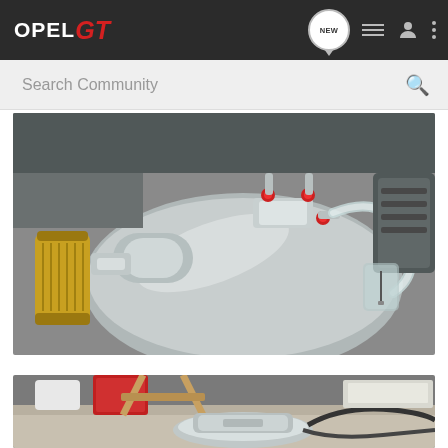OPEL GT — navigation bar with NEW message icon, list icon, user icon, menu icon
Search Community
[Figure (photo): Close-up photo of chrome engine components with fuel filter (yellow/orange cylindrical filter), silver metal fittings, red push-to-connect fittings, clear tubing, and polished intake pipe on what appears to be a custom Opel GT engine build.]
[Figure (photo): Photo of a workshop/garage floor area showing chrome carburetor or fuel system components, red toolbox or parts bin in background, wooden sawhorses or workbench, and various auto parts and hoses in the foreground.]